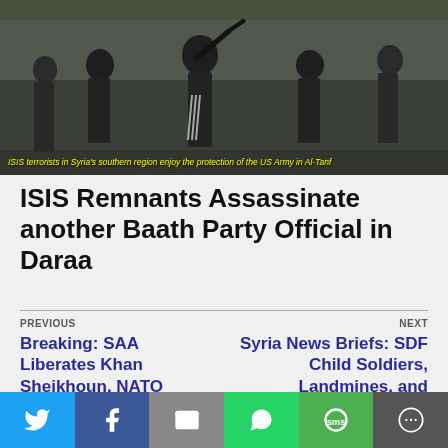[Figure (photo): Armed fighters in dark clothing and masks walking in a group, carrying weapons. Yellow caption text overlaid at bottom.]
ISIS terrorists in Syria's southern region enjoy the protection of the US Army in Al-Tanf
ISIS Remnants Assassinate another Baath Party Official in Daraa
PREVIOUS
Breaking: SAA Liberates Khan Sheikhoun, NATO Terrorists Defeated
NEXT
Syria News Briefs: SDF Child Soldiers, Landmines, and